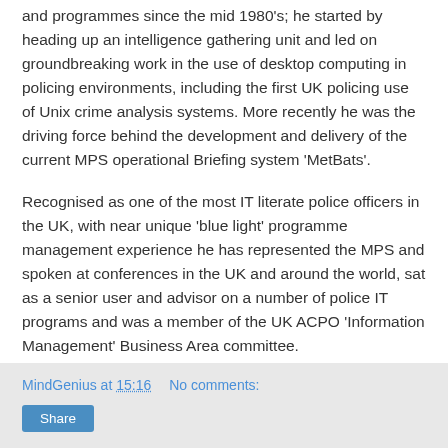and programmes since the mid 1980's; he started by heading up an intelligence gathering unit and led on groundbreaking work in the use of desktop computing in policing environments, including the first UK policing use of Unix crime analysis systems. More recently he was the driving force behind the development and delivery of the current MPS operational Briefing system 'MetBats'.
Recognised as one of the most IT literate police officers in the UK, with near unique 'blue light' programme management experience he has represented the MPS and spoken at conferences in the UK and around the world, sat as a senior user and advisor on a number of police IT programs and was a member of the UK ACPO 'Information Management' Business Area committee.
If you want to know more about Steven, view his company website at www.publicsafetyassociates.co.uk
MindGenius at 15:16   No comments:   Share